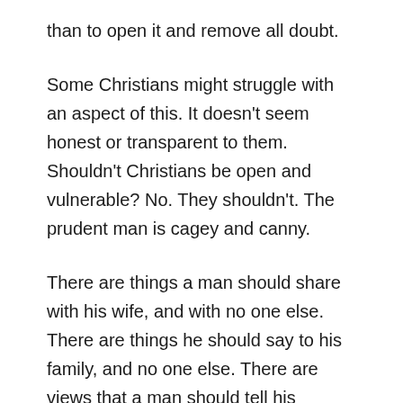than to open it and remove all doubt.
Some Christians might struggle with an aspect of this. It doesn't seem honest or transparent to them. Shouldn't Christians be open and vulnerable? No. They shouldn't. The prudent man is cagey and canny.
There are things a man should share with his wife, and with no one else. There are things he should say to his family, and no one else. There are views that a man should tell his closest friends, and no one else. And then there are the things he should be willing to say to anyone.